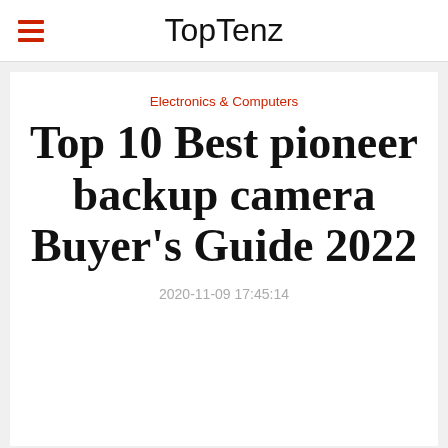TopTenz
Electronics & Computers
Top 10 Best pioneer backup camera Buyer's Guide 2022
2020-11-09 17:45:14